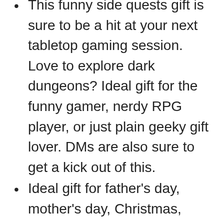This funny side quests gift is sure to be a hit at your next tabletop gaming session. Love to explore dark dungeons? Ideal gift for the funny gamer, nerdy RPG player, or just plain geeky gift lover. DMs are also sure to get a kick out of this.
Ideal gift for father's day, mother's day, Christmas, holidays, or for that D20 dice hoarder in your family. Goes with polyherdal dice gifts, RPG gifts, role playing miniatures, role playing accessories. For dragon lovers.
lightweight Classic fit Double...